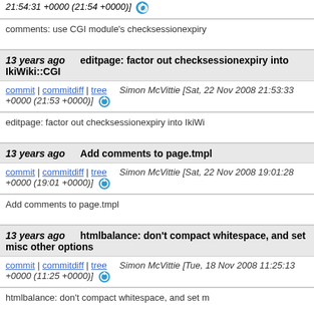21:54:31 +0000 (21:54 +0000)]
comments: use CGI module's checksessionexpiry
13 years ago   editpage: factor out checksessionexpiry into IkiWiki::CGI
commit | commitdiff | tree   Simon McVittie [Sat, 22 Nov 2008 21:53:33 +0000 (21:53 +0000)]
editpage: factor out checksessionexpiry into IkiWiki::CGI
13 years ago   Add comments to page.tmpl
commit | commitdiff | tree   Simon McVittie [Sat, 22 Nov 2008 19:01:28 +0000 (19:01 +0000)]
Add comments to page.tmpl
13 years ago   htmlbalance: don't compact whitespace, and set misc other options
commit | commitdiff | tree   Simon McVittie [Tue, 18 Nov 2008 11:25:13 +0000 (11:25 +0000)]
htmlbalance: don't compact whitespace, and set m